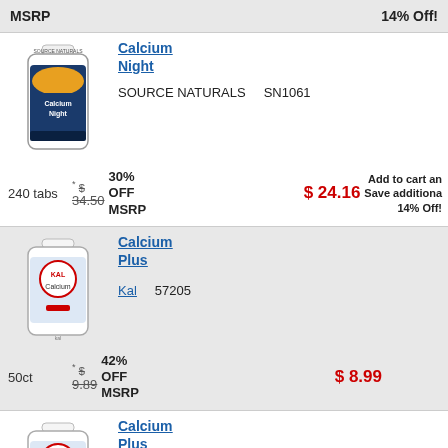MSRP    14% Off!
Calcium Night
SOURCE NATURALS    SN1061
240 tabs   * $ 34.50   30% OFF MSRP   $ 24.16   Add to cart and Save additional 14% Off!
Calcium Plus
Kal    57205
50ct   * $ 9.89   42% OFF MSRP   $ 8.99
Calcium Plus
Kal    57210